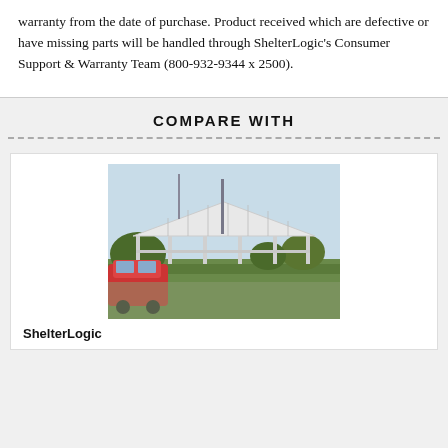warranty from the date of purchase. Product received which are defective or have missing parts will be handled through ShelterLogic's Consumer Support & Warranty Team (800-932-9344 x 2500).
COMPARE WITH
[Figure (photo): Photo of a large white canopy/carport shelter structure in an outdoor parking area with a car and greenery visible]
ShelterLogic